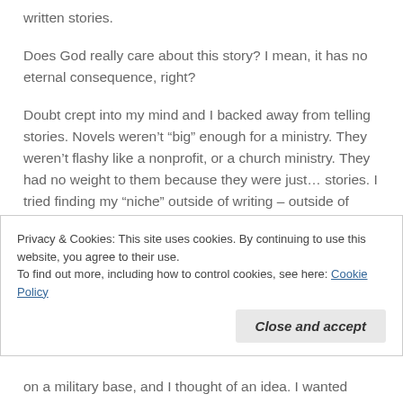written stories.
Does God really care about this story? I mean, it has no eternal consequence, right?
Doubt crept into my mind and I backed away from telling stories. Novels weren't “big” enough for a ministry. They weren’t flashy like a nonprofit, or a church ministry. They had no weight to them because they were just... stories. I tried finding my “niche” outside of writing – outside of what I knew was my
Privacy & Cookies: This site uses cookies. By continuing to use this website, you agree to their use.
To find out more, including how to control cookies, see here: Cookie Policy
on a military base, and I thought of an idea. I wanted